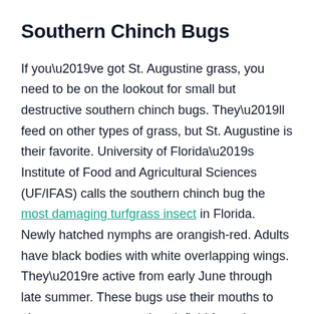Southern Chinch Bugs
If you’ve got St. Augustine grass, you need to be on the lookout for small but destructive southern chinch bugs. They’ll feed on other types of grass, but St. Augustine is their favorite. University of Florida’s Institute of Food and Agricultural Sciences (UF/IFAS) calls the southern chinch bug the most damaging turfgrass insect in Florida. Newly hatched nymphs are orangish-red. Adults have black bodies with white overlapping wings. They’re active from early June through late summer. These bugs use their mouths to pierce grass stems and suck fluid from the grass. They also inject a toxin that turns the grass yellow, before it kills the turf. If you’ve got dead patches of